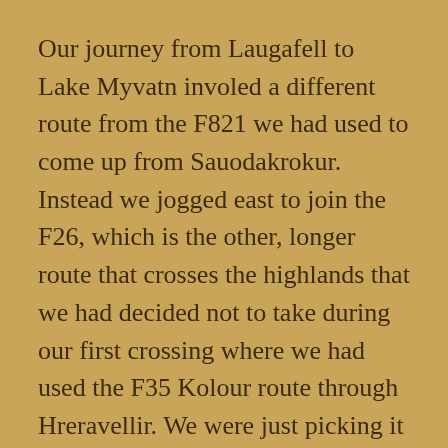Our journey from Laugafell to Lake Myvatn involed a different route from the F821 we had used to come up from Sauodakrokur. Instead we jogged east to join the F26, which is the other, longer route that crosses the highlands that we had decided not to take during our first crossing where we had used the F35 Kolour route through Hreravellir. We were just picking it up at its northern end but at least we did that much. Turns out it was relatively easy, not nearly as challenging as the F821 had been when we came up.
The descent brought us into Lake Myvatn at a very decent hour, with lots of time to explore